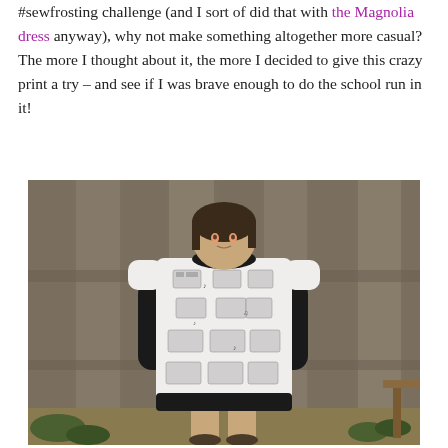#sewfrosting challenge (and I sort of did that with the Magnolia dress anyway), why not make something altogether more casual? The more I thought about it, the more I decided to give this crazy print a try – and see if I was brave enough to do the school run in it!
[Figure (photo): A woman standing in front of a wooden fence wearing a white dress with a black-and-white boombox/music print over a black long-sleeve top, with black trim at the hem. The dress is a casual t-shirt style dress.]